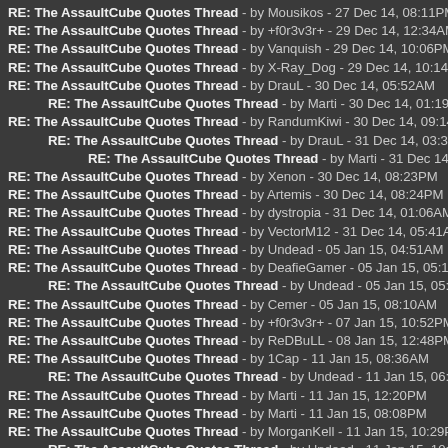RE: The AssaultCube Quotes Thread - by Mousikos - 27 Dec 14, 08:11PM
RE: The AssaultCube Quotes Thread - by +f0r3v3r+ - 29 Dec 14, 12:34AM
RE: The AssaultCube Quotes Thread - by Vanquish - 29 Dec 14, 10:06PM
RE: The AssaultCube Quotes Thread - by X-Ray_Dog - 29 Dec 14, 10:14PM
RE: The AssaultCube Quotes Thread - by DrauL - 30 Dec 14, 05:52AM
RE: The AssaultCube Quotes Thread - by Marti - 30 Dec 14, 01:19PM
RE: The AssaultCube Quotes Thread - by RandumKiwi - 30 Dec 14, 09:14AM
RE: The AssaultCube Quotes Thread - by DrauL - 31 Dec 14, 03:32AM
RE: The AssaultCube Quotes Thread - by Marti - 31 Dec 14, 12:07PM
RE: The AssaultCube Quotes Thread - by Xenon - 30 Dec 14, 08:23PM
RE: The AssaultCube Quotes Thread - by Artemis - 30 Dec 14, 08:24PM
RE: The AssaultCube Quotes Thread - by dystropia - 31 Dec 14, 01:06AM
RE: The AssaultCube Quotes Thread - by VectorM12 - 31 Dec 14, 05:41AM
RE: The AssaultCube Quotes Thread - by Undead - 05 Jan 15, 04:51AM
RE: The AssaultCube Quotes Thread - by DeafieGamer - 05 Jan 15, 05:19AM
RE: The AssaultCube Quotes Thread - by Undead - 05 Jan 15, 05:48AM
RE: The AssaultCube Quotes Thread - by Cemer - 05 Jan 15, 08:10AM
RE: The AssaultCube Quotes Thread - by +f0r3v3r+ - 07 Jan 15, 10:52PM
RE: The AssaultCube Quotes Thread - by ReDBuLL - 08 Jan 15, 12:48PM
RE: The AssaultCube Quotes Thread - by 1Cap - 11 Jan 15, 08:36AM
RE: The AssaultCube Quotes Thread - by Undead - 11 Jan 15, 06:06PM
RE: The AssaultCube Quotes Thread - by Marti - 11 Jan 15, 12:20PM
RE: The AssaultCube Quotes Thread - by Marti - 11 Jan 15, 08:08PM
RE: The AssaultCube Quotes Thread - by MorganKell - 11 Jan 15, 10:29PM
RE: The AssaultCube Quotes Thread - by Undead - 11 Jan 15, 10:56PM